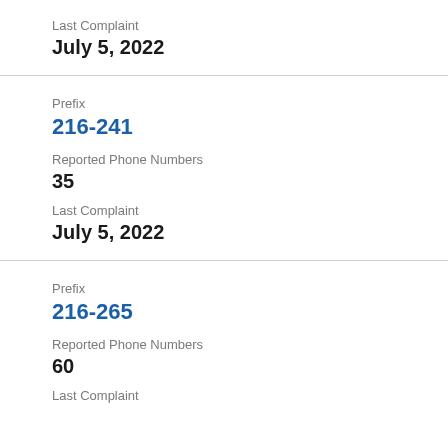Last Complaint
July 5, 2022
Prefix
216-241
Reported Phone Numbers
35
Last Complaint
July 5, 2022
Prefix
216-265
Reported Phone Numbers
60
Last Complaint